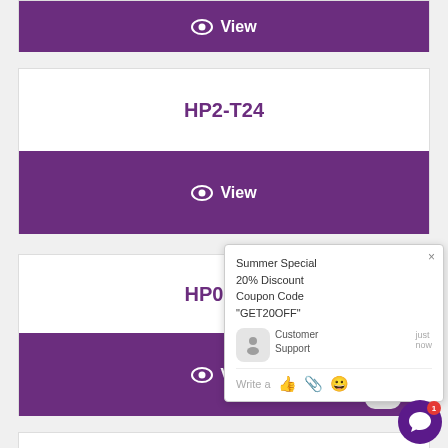[Figure (screenshot): Purple 'View' button bar (partially visible card top)]
HP2-T24
[Figure (screenshot): Purple 'View' button bar for HP2-T24 card]
HP0-J21
[Figure (screenshot): Purple 'View' button bar for HP0-J21 card]
[Figure (screenshot): Chat popup overlay: Summer Special 20% Discount Coupon Code 'GET20OFF', Customer Support agent, Write a message input]
HP0-D03